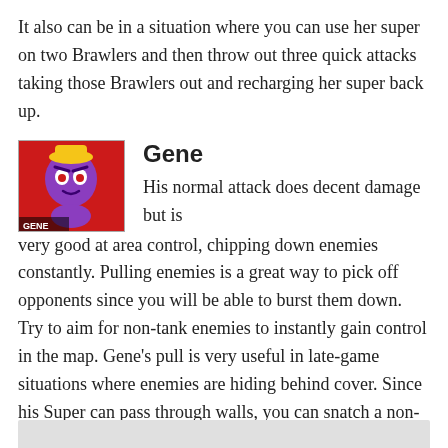It also can be in a situation where you can use her super on two Brawlers and then throw out three quick attacks taking those Brawlers out and recharging her super back up.
[Figure (illustration): Gene character icon from Brawl Stars — purple character with yellow hat on red background, labeled GENE at bottom left]
Gene
His normal attack does decent damage but is very good at area control, chipping down enemies constantly. Pulling enemies is a great way to pick off opponents since you will be able to burst them down. Try to aim for non-tank enemies to instantly gain control in the map. Gene's pull is very useful in late-game situations where enemies are hiding behind cover. Since his Super can pass through walls, you can snatch a non-tanky enemy from cover to eliminate.